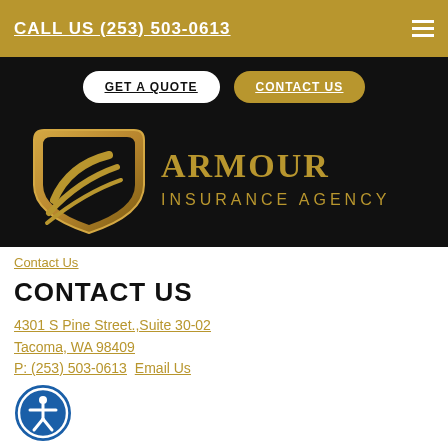CALL US (253) 503-0613
GET A QUOTE   CONTACT US
[Figure (logo): Armour Insurance Agency logo: gold shield with swoosh lines on left, 'ARMOUR INSURANCE AGENCY' text in gold on black background]
Contact Us
CONTACT US
4301 S Pine Street.,Suite 30-02
Tacoma, WA 98409
P: (253) 503-0613  Email Us
[Figure (illustration): Blue circular accessibility icon with person figure in white]
© Copyright. All rights reserved. Powered by Insurance